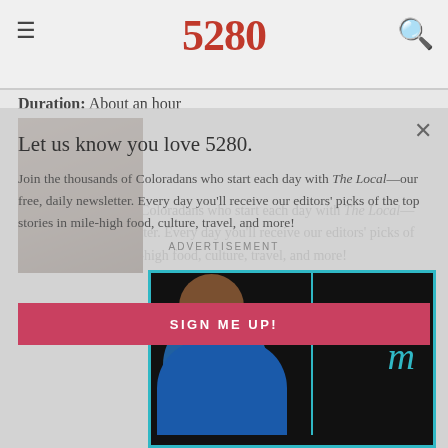5280
Workout type: HIIT
Muscle focus: Legs, core, cardio
Duration: About an hour
[Figure (photo): Thumbnail photo of person holding phone]
Join the thousands of Coloradans who start each day with The Local—our free, daily newsletter. Every day you’ll receive our editors’ picks of the top stories in mile-high food, culture, travel, and more!
Let us know you love 5280.
ADVERTISEMENT
[Figure (screenshot): Video advertisement overlay with a person in blue shirt and teal letter m on dark background]
SIGN ME UP!